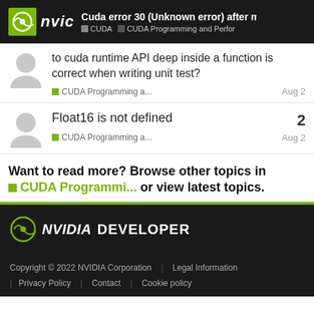Cuda error 30 (Unknown error) after mi... | CUDA | CUDA Programming and Perfor
to cuda runtime API deep inside a function is correct when writing unit test?
CUDA Programming a... Aug 2
Float16 is not defined
CUDA Programming a... Aug 2
Want to read more? Browse other topics in CUDA Programmi... or view latest topics.
[Figure (logo): NVIDIA Developer footer logo with eye/swirl icon]
Copyright © 2022 NVIDIA Corporation | Legal Information | Privacy Policy | Contact | Cookie policy